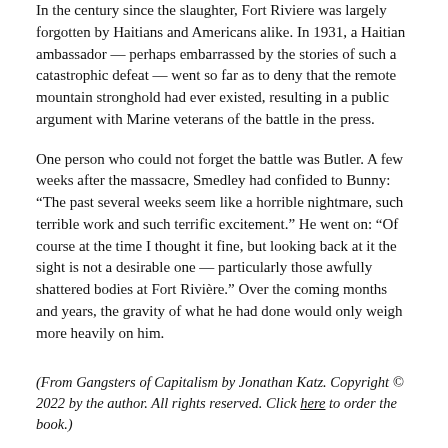In the century since the slaughter, Fort Riviere was largely forgotten by Haitians and Americans alike. In 1931, a Haitian ambassador — perhaps embarrassed by the stories of such a catastrophic defeat — went so far as to deny that the remote mountain stronghold had ever existed, resulting in a public argument with Marine veterans of the battle in the press.
One person who could not forget the battle was Butler. A few weeks after the massacre, Smedley had confided to Bunny: “The past several weeks seem like a horrible nightmare, such terrible work and such terrific excitement.” He went on: “Of course at the time I thought it fine, but looking back at it the sight is not a desirable one — particularly those awfully shattered bodies at Fort Rivière.” Over the coming months and years, the gravity of what he had done would only weigh more heavily on him.
(From Gangsters of Capitalism by Jonathan Katz. Copyright © 2022 by the author. All rights reserved. Click here to order the book.)